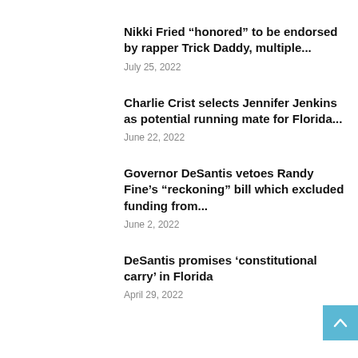Nikki Fried “honored” to be endorsed by rapper Trick Daddy, multiple...
July 25, 2022
Charlie Crist selects Jennifer Jenkins as potential running mate for Florida...
June 22, 2022
Governor DeSantis vetoes Randy Fine’s “reckoning” bill which excluded funding from...
June 2, 2022
DeSantis promises ‘constitutional carry’ in Florida
April 29, 2022